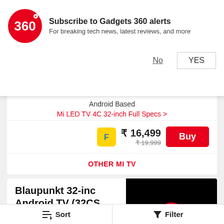[Figure (screenshot): Gadgets 360 notification subscription banner with red circular logo showing '360', title 'Subscribe to Gadgets 360 alerts', subtitle 'For breaking tech news, latest reviews, and more', and two buttons: 'No' and 'YES']
Android Based
Mi LED TV 4C 32-inch Full Specs >
₹ 16,499 ₹ 19,999 Buy
OTHER MI TV
Blaupunkt 32-inch Android TV (32CS)
Display 32.00-inch
Screen Type LED
Compare
Sort   Filter